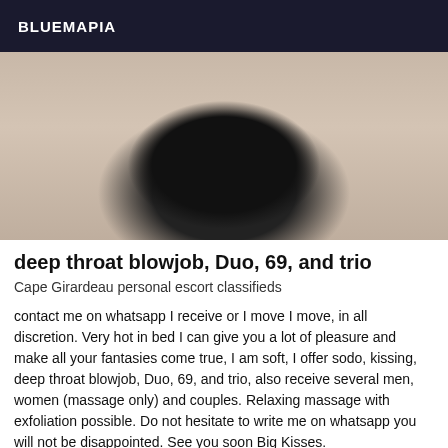BLUEMAPIA
[Figure (photo): Close-up photo of a person wearing black lace underwear against a light background]
deep throat blowjob, Duo, 69, and trio
Cape Girardeau personal escort classifieds
contact me on whatsapp I receive or I move I move, in all discretion. Very hot in bed I can give you a lot of pleasure and make all your fantasies come true, I am soft, I offer sodo, kissing, deep throat blowjob, Duo, 69, and trio, also receive several men, women (massage only) and couples. Relaxing massage with exfoliation possible. Do not hesitate to write me on whatsapp you will not be disappointed. See you soon Big Kisses.